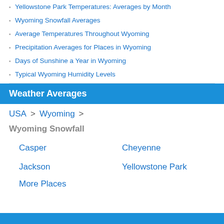Yellowstone Park Temperatures: Averages by Month
Wyoming Snowfall Averages
Average Temperatures Throughout Wyoming
Precipitation Averages for Places in Wyoming
Days of Sunshine a Year in Wyoming
Typical Wyoming Humidity Levels
Weather Averages
USA > Wyoming >
Wyoming Snowfall
Casper
Cheyenne
Jackson
Yellowstone Park
More Places